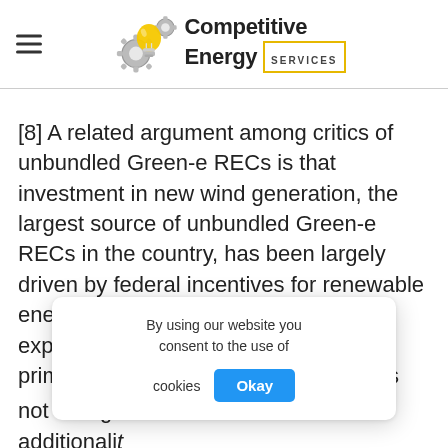Competitive Energy Services
[8] A related argument among critics of unbundled Green-e RECs is that investment in new wind generation, the largest source of unbundled Green-e RECs in the country, has been largely driven by federal incentives for renewable energy and not by project owners' expectations of REC revenue as a primary value stream. This, however, is not as significant a … the additionali…
By using our website you consent to the use of cookies Okay